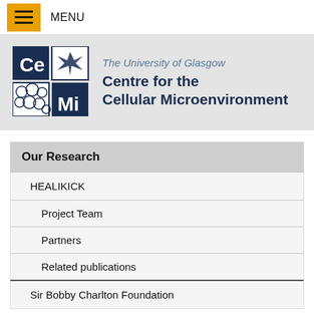MENU
[Figure (logo): CeMi logo — four quadrant tiles: Ce, bird/star icon, cellular texture, Mi — next to University of Glasgow Centre for the Cellular Microenvironment text]
The University of Glasgow Centre for the Cellular Microenvironment
Our Research
HEALIKICK
Project Team
Partners
Related publications
Sir Bobby Charlton Foundation